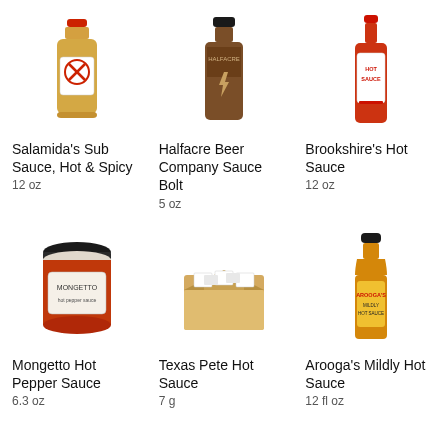[Figure (photo): Bottle of Salamida's Sub Sauce Hot & Spicy with red cap and label]
Salamida's Sub Sauce, Hot & Spicy
12 oz
[Figure (photo): Dark brown bottle of Halfacre Beer Company Sauce Bolt with black cap and lightning bolt label]
Halfacre Beer Company Sauce Bolt
5 oz
[Figure (photo): Tall red bottle of Brookshire's Hot Sauce with red cap]
Brookshire's Hot Sauce
12 oz
[Figure (photo): Glass jar of Mongetto Hot Pepper Sauce with black lid]
Mongetto Hot Pepper Sauce
6.3 oz
[Figure (photo): Open cardboard box of Texas Pete Hot Sauce packets]
Texas Pete Hot Sauce
7 g
[Figure (photo): Bottle of Arooga's Mildly Hot Sauce with black cap and yellow/red label]
Arooga's Mildly Hot Sauce
12 fl oz